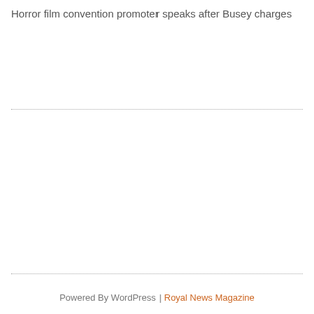Horror film convention promoter speaks after Busey charges
Powered By WordPress | Royal News Magazine